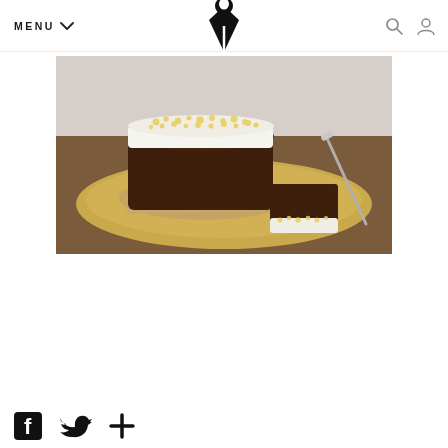MENU [logo] [search icon] [user icon]
[Figure (photo): A chocolate loaf cake with white cream frosting and yellow crumbled toppings, displayed on a gold plate with parchment paper. A slice is cut and placed in front showing the frosting layer. A knife is visible on the right side.]
[Figure (infographic): Social media share icons: Facebook, Twitter, and a plus/add button]